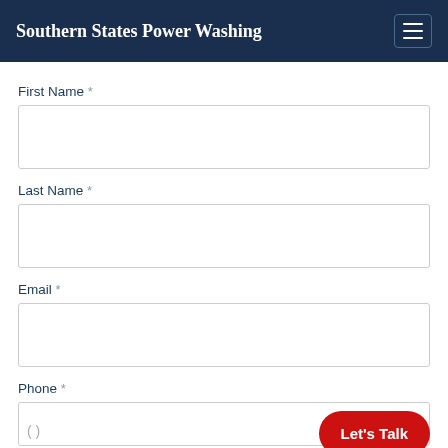Southern States Power Washing
First Name *
Last Name *
Email *
Phone *
Let's Talk